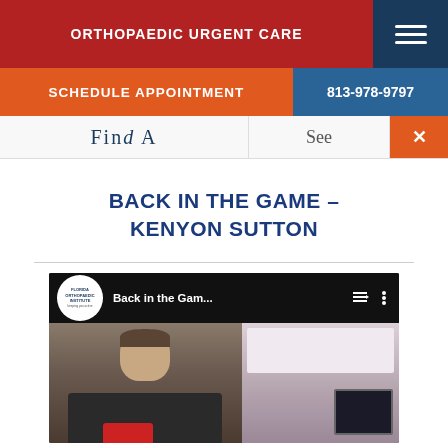ORTHOPAEDIC URGENT CARE
SCHEDULE APPOINTMENT
813-978-9797
BACK IN THE GAME – KENYON SUTTON
[Figure (screenshot): YouTube-style video thumbnail showing a man in a TV studio setting with Florida Orthopaedic Institute branding. Video title reads 'Back in the Gam...']